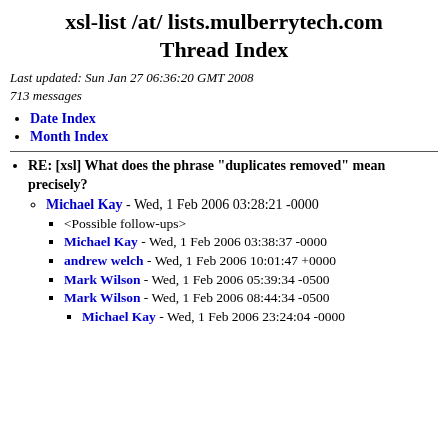xsl-list /at/ lists.mulberrytech.com Thread Index
Last updated: Sun Jan 27 06:36:20 GMT 2008
713 messages
Date Index
Month Index
RE: [xsl] What does the phrase "duplicates removed" mean precisely?
Michael Kay - Wed, 1 Feb 2006 03:28:21 -0000
<Possible follow-ups>
Michael Kay - Wed, 1 Feb 2006 03:38:37 -0000
andrew welch - Wed, 1 Feb 2006 10:01:47 +0000
Mark Wilson - Wed, 1 Feb 2006 05:39:34 -0500
Mark Wilson - Wed, 1 Feb 2006 08:44:34 -0500
Michael Kay - Wed, 1 Feb 2006 23:24:04 -0000